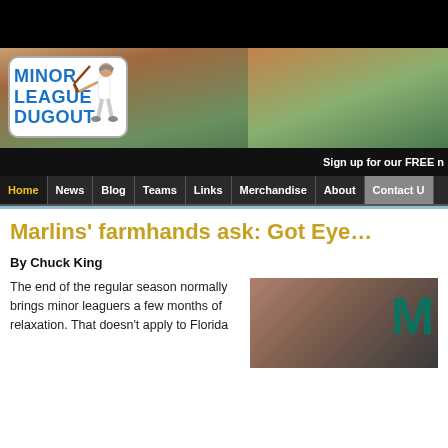[Figure (logo): Minor League Dugout website header with logo showing text MINOR LEAGUE DUGOUT with a baseball batter illustration, on a landscape background with trees and field]
Sign up for our FREE n
Home   News   Blog   Teams   Links   Merchandise   About   Contact U
Marlins' farmhands ask: Got Eye
By Chuck King
The end of the regular season normally brings minor leaguers a few months of relaxation. That doesn't apply to Florida
[Figure (photo): Close-up photo of person wearing a Marlins baseball cap with teal M logo]